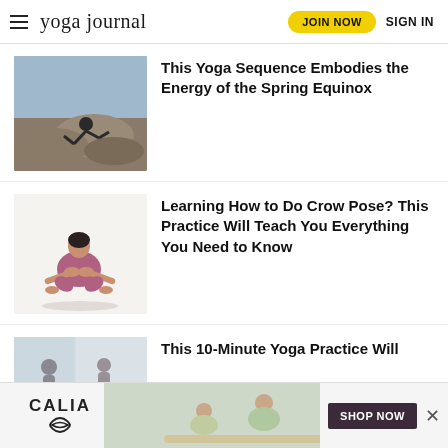yoga journal | JOIN NOW | SIGN IN
[Figure (photo): Person doing a yoga pose on rocky terrain outdoors, blue sky background]
This Yoga Sequence Embodies the Energy of the Spring Equinox
[Figure (photo): Person doing crow pose (bakasana) on white background, wearing purple shorts]
Learning How to Do Crow Pose? This Practice Will Teach You Everything You Need to Know
[Figure (photo): Partial view of yoga class with people practicing]
This 10-Minute Yoga Practice Will
[Figure (photo): CALIA advertisement banner with woman doing yoga pose and SHOP NOW button]